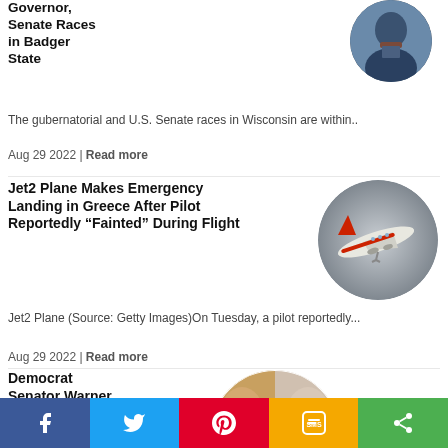Governor, Senate Races in Badger State
The gubernatorial and U.S. Senate races in Wisconsin are within..
Aug 29 2022 | Read more
Jet2 Plane Makes Emergency Landing in Greece After Pilot Reportedly “Fainted” During Flight
[Figure (photo): Jet2 airplane in flight, circular thumbnail]
Jet2 Plane (Source: Getty Images)On Tuesday, a pilot reportedly...
Aug 29 2022 | Read more
Democrat Senator Warner Freaks Out Over Mar-a-Lago Raid Because His Actions May Be Included in Documents President Trump Declassified and Stolen by the FBI
[Figure (photo): Two faces in circular thumbnail, split image]
The corrupt actors running the US government are freaked...
Aug 29 2022 | Read more